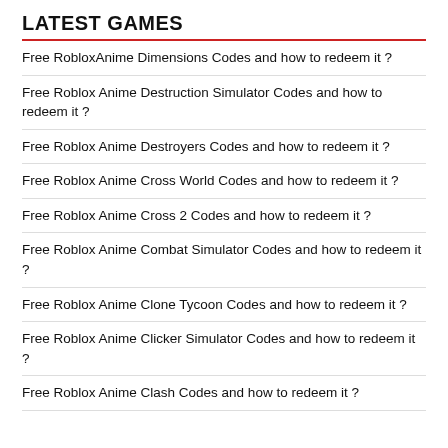LATEST GAMES
Free RobloxAnime Dimensions Codes and how to redeem it ?
Free Roblox Anime Destruction Simulator Codes and how to redeem it ?
Free Roblox Anime Destroyers Codes and how to redeem it ?
Free Roblox Anime Cross World Codes and how to redeem it ?
Free Roblox Anime Cross 2 Codes and how to redeem it ?
Free Roblox Anime Combat Simulator Codes and how to redeem it ?
Free Roblox Anime Clone Tycoon Codes and how to redeem it ?
Free Roblox Anime Clicker Simulator Codes and how to redeem it ?
Free Roblox Anime Clash Codes and how to redeem it ?